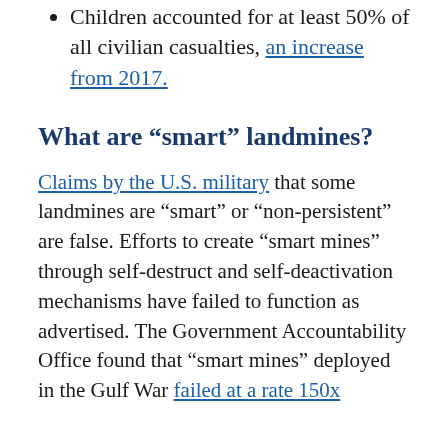Children accounted for at least 50% of all civilian casualties, an increase from 2017.
What are “smart” landmines?
Claims by the U.S. military that some landmines are “smart” or “non-persistent” are false. Efforts to create “smart mines” through self-destruct and self-deactivation mechanisms have failed to function as advertised. The Government Accountability Office found that “smart mines” deployed in the Gulf War failed at a rate 150x